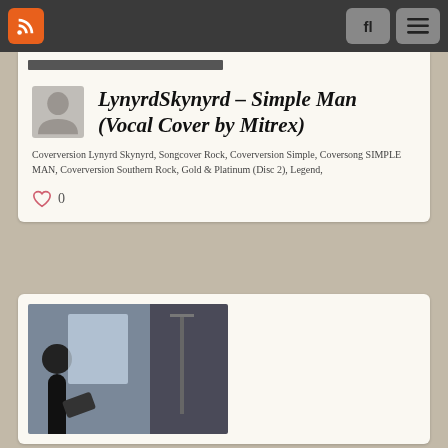Navigation bar with RSS icon, search, and menu buttons
LynyrdSkynyrd – Simple Man (Vocal Cover by Mitrex)
Coverversion Lynyrd Skynyrd, Songcover Rock, Coverversion Simple, Coversong SIMPLE MAN, Coverversion Southern Rock, Gold & Platinum (Disc 2), Legend,
0
[Figure (photo): Partial photo thumbnail of a musician playing guitar on stage]